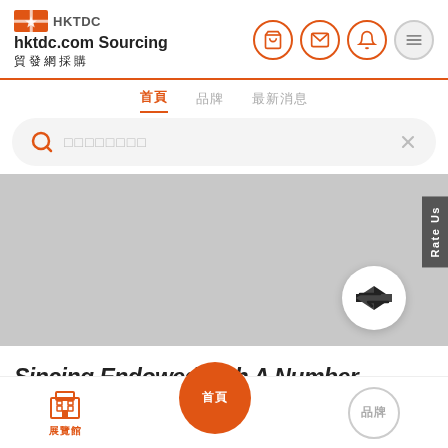[Figure (screenshot): HKTDC hktdc.com Sourcing app header with logo and navigation icons (cart, mail, bell, menu)]
首頁	品牌	最新消息
[Figure (screenshot): Search bar with orange search icon and placeholder text (Chinese characters) and clear X button]
[Figure (screenshot): Gray banner area with Rate Us tab on right side and transfer/swap icon button]
Sincing Endowed with A Number
[Figure (screenshot): Bottom navigation bar with building icon (展覽館), orange pill button (首頁), and gray pill button (品牌)]